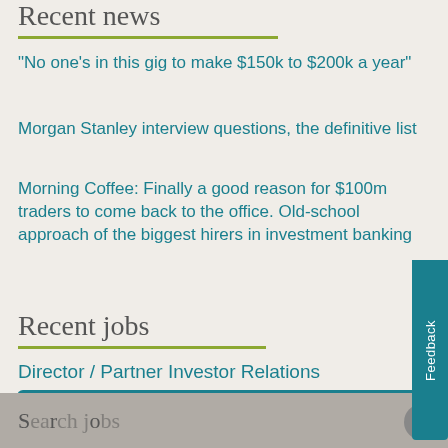Recent news
“No one’s in this gig to make $150k to $200k a year”
Morgan Stanley interview questions, the definitive list
Morning Coffee: Finally a good reason for $100m traders to come back to the office. Old-school approach of the biggest hirers in investment banking
Recent jobs
Director / Partner Investor Relations
Head of Crypto Exchange Business
Chief Operating Office (COO)
Popular job sectors +
S...d j...